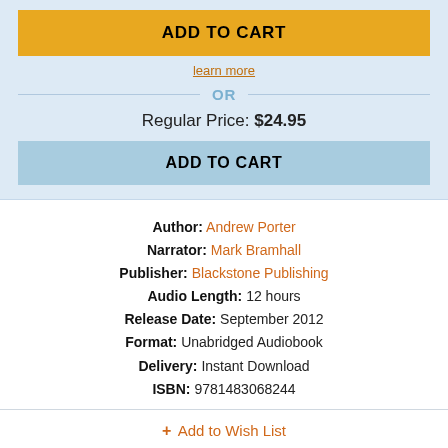ADD TO CART
learn more
OR
Regular Price: $24.95
ADD TO CART
Author: Andrew Porter
Narrator: Mark Bramhall
Publisher: Blackstone Publishing
Audio Length: 12 hours
Release Date: September 2012
Format: Unabridged Audiobook
Delivery: Instant Download
ISBN: 9781483068244
+ Add to Wish List